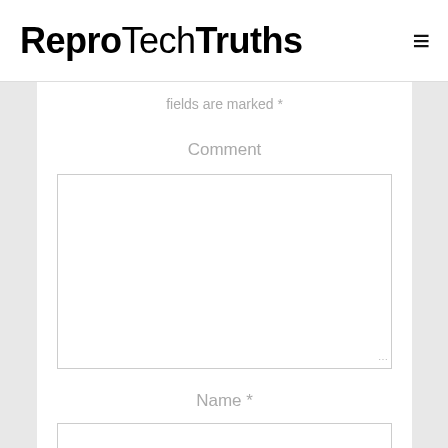ReproTechTruths ≡
fields are marked *
Comment
[Figure (screenshot): Empty comment textarea input box with resize handle in bottom-right corner]
Name *
[Figure (screenshot): Empty name text input field]